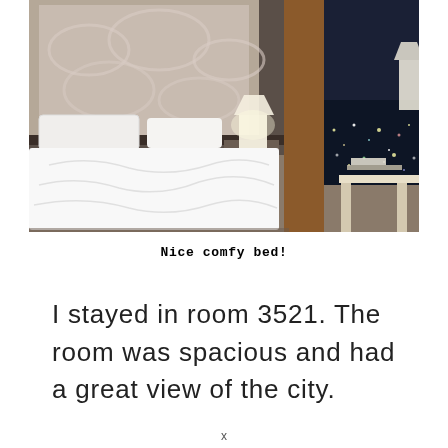[Figure (photo): Hotel room with a large king bed with white linens, upholstered headboard, bedside lamp, and a window showing a night city view. A desk is visible on the right side.]
Nice comfy bed!
I stayed in room 3521. The room was spacious and had a great view of the city.
x